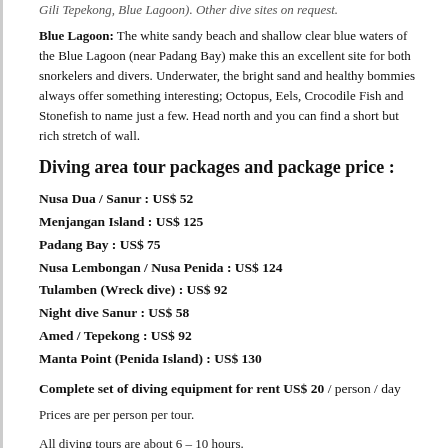Gili Tepekong, Blue Lagoon). Other dive sites on request.
Blue Lagoon: The white sandy beach and shallow clear blue waters of the Blue Lagoon (near Padang Bay) make this an excellent site for both snorkelers and divers. Underwater, the bright sand and healthy bommies always offer something interesting; Octopus, Eels, Crocodile Fish and Stonefish to name just a few. Head north and you can find a short but rich stretch of wall.
Diving area tour packages and package price :
Nusa Dua / Sanur : US$ 52
Menjangan Island : US$ 125
Padang Bay : US$ 75
Nusa Lembongan / Nusa Penida : US$ 124
Tulamben (Wreck dive) : US$ 92
Night dive Sanur : US$ 58
Amed / Tepekong : US$ 92
Manta Point (Penida Island)  : US$ 130
Complete set of diving equipment for rent US$ 20 / person / day
Prices are per person per tour.
All diving tours are about 6 – 10 hours.
Hotel pick-up and return transfer are inclusive!
With all of our daily dive trips we offer following inclusuive :